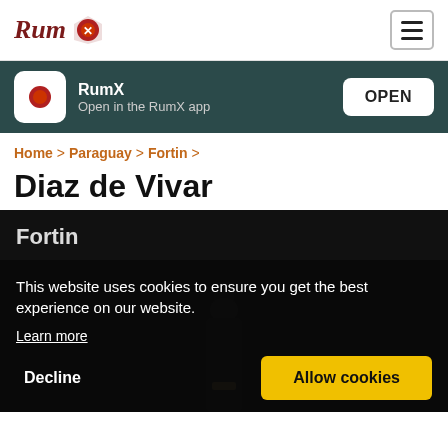RumX logo and navigation
RumX
Open in the RumX app
OPEN
Home > Paraguay > Fortin >
Diaz de Vivar
[Figure (screenshot): Dark product area with Fortin label and a bottle silhouette in background]
This website uses cookies to ensure you get the best experience on our website.
Learn more
Decline
Allow cookies